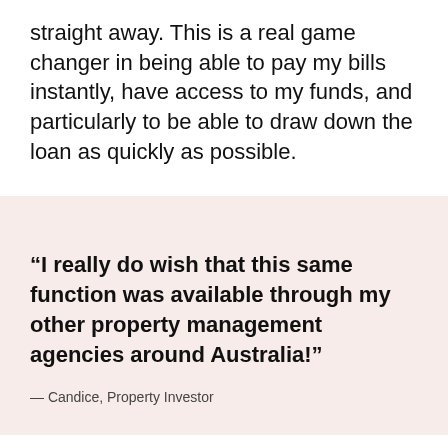straight away. This is a real game changer in being able to pay my bills instantly, have access to my funds, and particularly to be able to draw down the loan as quickly as possible.
“I really do wish that this same function was available through my other property management agencies around Australia!”
— Candice, Property Investor